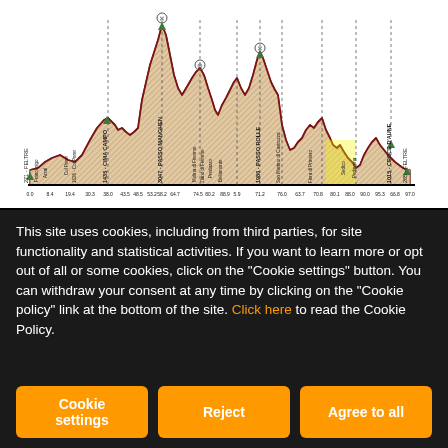[Figure (continuous-plot): Cycling stage elevation profile chart showing the route from Feltre (271m) to Feltre (285m) with multiple mountain passes including Cima Campo (1435m), Passo Manghen (3047m), Passo Rolle (1980m), and Croce d'Aune (1015m). The profile shows distance markers along the x-axis and elevation on y-axis with location names labeled vertically.]
This site uses cookies, including from third parties, for site functionality and statistical activities. If you want to learn more or opt out of all or some cookies, click on the "Cookie settings" button. You can withdraw your consent at any time by clicking on the "Cookie policy" link at the bottom of the site. Click here to read the Cookie Policy.